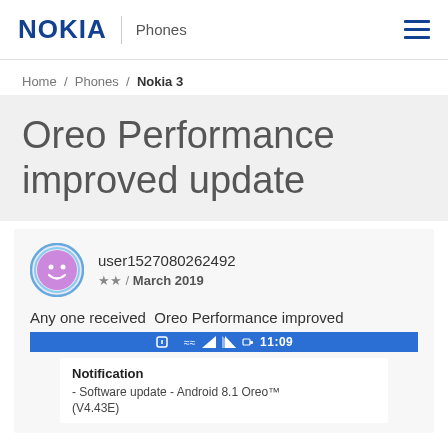NOKIA | Phones
Home / Phones / Nokia 3
Oreo Performance improved update
user1527080262492 ★★ / March 2019
Any one received  Oreo Performance improved
[Figure (screenshot): Android status bar notification overlay showing time 11:09 and system icons]
Notification
- Software update - Android 8.1 Oreo™
(V4.43E)